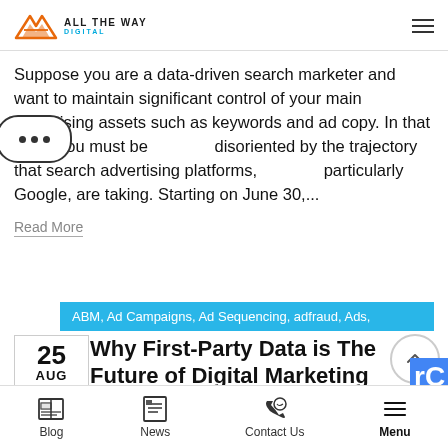ALL THE WAY DIGITAL
Suppose you are a data-driven search marketer and want to maintain significant control of your main advertising assets such as keywords and ad copy. In that case, you must be disoriented by the trajectory that search advertising platforms, particularly Google, are taking. Starting on June 30,...
Read More
ABM, Ad Campaigns, Ad Sequencing, adfraud, Ads,
Why First-Party Data is The Future of Digital Marketing
Blog  News  Contact Us  Menu